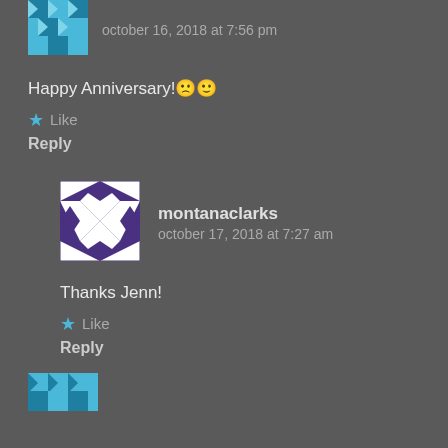[Figure (illustration): Blue geometric/quilt pattern avatar, partially visible at top]
october 16, 2018 at 7:56 pm
Happy Anniversary! 🙁 🙂
★ Like
Reply
[Figure (illustration): Purple and white geometric/quilt pattern avatar]
montanaclarks
october 17, 2018 at 7:27 am
Thanks Jenn!
★ Like
Reply
[Figure (illustration): Partially visible geometric avatar at bottom]